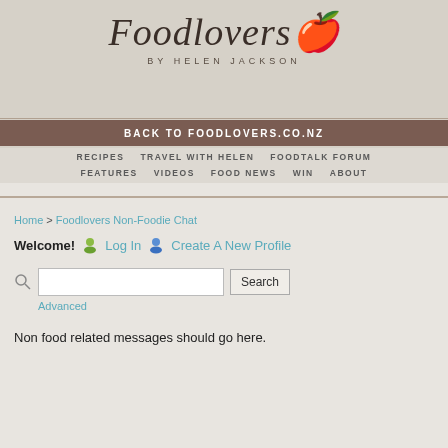Foodlovers by Helen Jackson
BACK TO FOODLOVERS.CO.NZ
RECIPES  TRAVEL WITH HELEN  FOODTALK FORUM  FEATURES  VIDEOS  FOOD NEWS  WIN  ABOUT
Home > Foodlovers Non-Foodie Chat
Welcome! Log In  Create A New Profile
Search  Advanced
Non food related messages should go here.